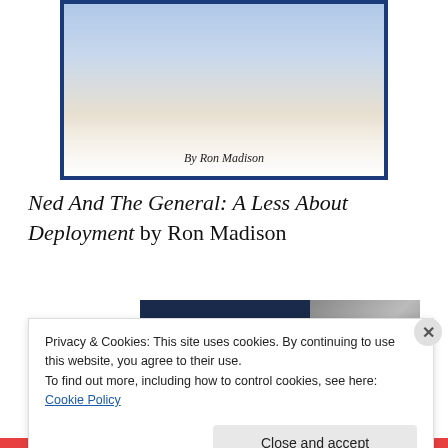[Figure (illustration): Book cover illustration showing cartoon characters running or playing, with a blue border. Text 'By Ron Madison' at the bottom of the cover image.]
Ned And The General: A Less About Deployment by Ron Madison
[Figure (infographic): WordPress hosting advertisement with dark navy background. Shows a 'P' logo in a box, text 'WORDPRESS HOSTING THAT MEANS BUSINESS.' and an image of an OPEN sign on the right side.]
REPORT THIS AD
A Good Night For Freedom by Barbara Olenyik Morrow
Privacy & Cookies: This site uses cookies. By continuing to use this website, you agree to their use.
To find out more, including how to control cookies, see here: Cookie Policy
Close and accept